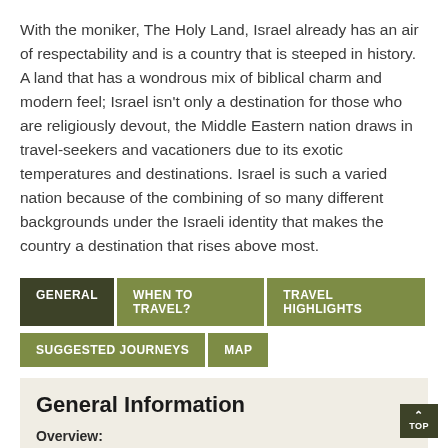With the moniker, The Holy Land, Israel already has an air of respectability and is a country that is steeped in history. A land that has a wondrous mix of biblical charm and modern feel; Israel isn't only a destination for those who are religiously devout, the Middle Eastern nation draws in travel-seekers and vacationers due to its exotic temperatures and destinations. Israel is such a varied nation because of the combining of so many different backgrounds under the Israeli identity that makes the country a destination that rises above most.
GENERAL
WHEN TO TRAVEL?
TRAVEL HIGHLIGHTS
SUGGESTED JOURNEYS
MAP
General Information
Overview: